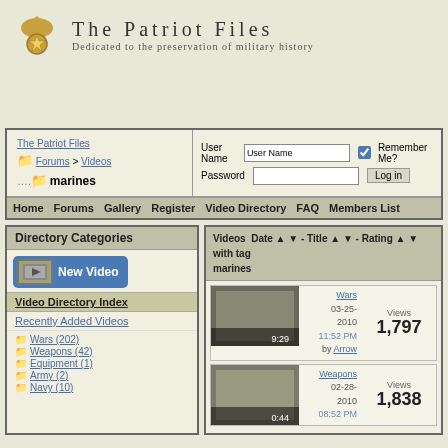The Patriot Files
Dedicated to the preservation of military history
[Figure (screenshot): Login form with User Name, Password fields, Remember Me checkbox, and Log in button]
The Patriot Files Forums > Videos marines
User Name | Password | Remember Me? | Log in
Home  Forums  Gallery  Register  Video Directory  FAQ  Members List
Directory Categories
New Video
Video Directory Index
Recently Added Videos
Wars (202)
Weapons (42)
Equipment (1)
Army (2)
Navy (10)
Videos with tag marines  Date - Title - Rating
Wars  03-25-2010  11:52 PM  by Arrow  Views 1,797  9:29
Weapons  02-28-2010  08:52 PM  Views 1,838  0:44